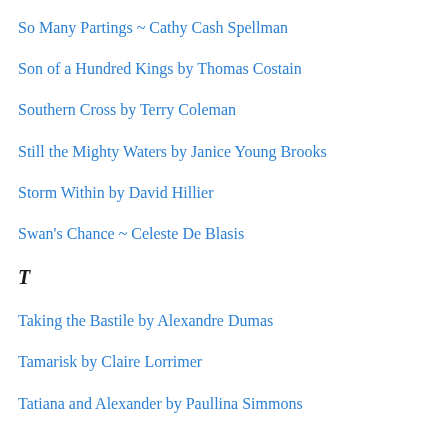So Many Partings ~ Cathy Cash Spellman
Son of a Hundred Kings by Thomas Costain
Southern Cross by Terry Coleman
Still the Mighty Waters by Janice Young Brooks
Storm Within by David Hillier
Swan's Chance ~ Celeste De Blasis
T
Taking the Bastile by Alexandre Dumas
Tamarisk by Claire Lorrimer
Tatiana and Alexander by Paullina Simmons